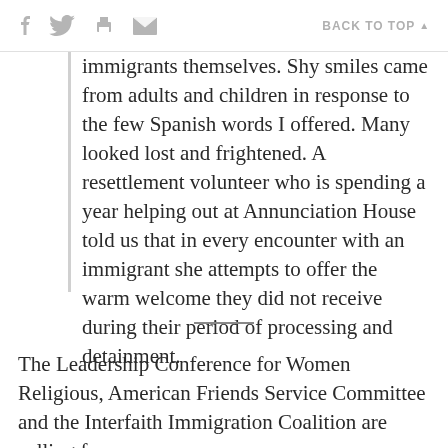f  [twitter]  [print]  [mail]  BACK TO TOP ▲
immigrants themselves. Shy smiles came from adults and children in response to the few Spanish words I offered. Many looked lost and frightened. A resettlement volunteer who is spending a year helping out at Annunciation House told us that in every encounter with an immigrant she attempts to offer the warm welcome they did not receive during their period of processing and detainment.
The Leadership Conference for Women Religious, American Friends Service Committee and the Interfaith Immigration Coalition are calling for a